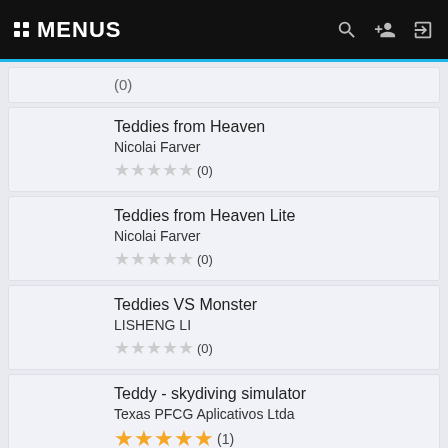MENUS
(0)
Teddies from Heaven
Nicolai Farver
★★★★★ (0)
Teddies from Heaven Lite
Nicolai Farver
★★★★★ (0)
Teddies VS Monster
LISHENG LI
★★★★★ (0)
Teddy - skydiving simulator
Texas PFCG Aplicativos Ltda
★★★★★ (1)
Teddy Basketball